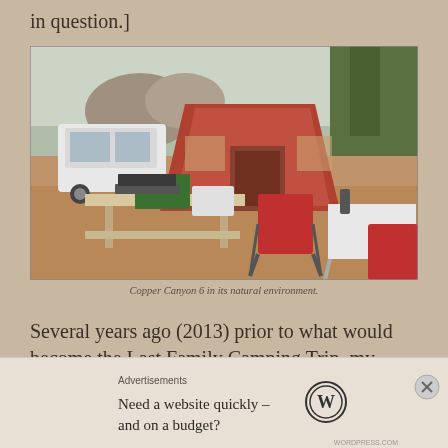in question.]
[Figure (photo): Outdoor camping scene showing a red tent (Copper Canyon 6), a white car, camping chairs, a folding table, and camping gear on a dirt ground with rocks and pine trees in the background.]
Copper Canyon 6 in its natural environment.
Several years ago (2013) prior to what would become the Last Family Camping Trip, my wife
Advertisements
Need a website quickly – and on a budget?